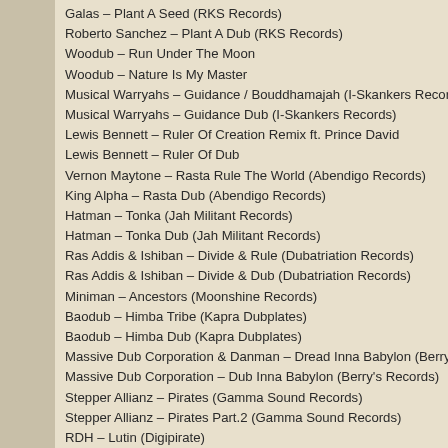Galas – Plant A Seed (RKS Records)
Roberto Sanchez – Plant A Dub (RKS Records)
Woodub – Run Under The Moon
Woodub – Nature Is My Master
Musical Warryahs – Guidance / Bouddhamajah (I-Skankers Records)
Musical Warryahs – Guidance Dub (I-Skankers Records)
Lewis Bennett – Ruler Of Creation Remix ft. Prince David
Lewis Bennett – Ruler Of Dub
Vernon Maytone – Rasta Rule The World (Abendigo Records)
King Alpha – Rasta Dub (Abendigo Records)
Hatman – Tonka (Jah Militant Records)
Hatman – Tonka Dub (Jah Militant Records)
Ras Addis & Ishiban – Divide & Rule (Dubatriation Records)
Ras Addis & Ishiban – Divide & Dub (Dubatriation Records)
Miniman – Ancestors (Moonshine Records)
Baodub – Himba Tribe (Kapra Dubplates)
Baodub – Himba Dub (Kapra Dubplates)
Massive Dub Corporation & Danman – Dread Inna Babylon (Berry's Records)
Massive Dub Corporation – Dub Inna Babylon (Berry's Records)
Stepper Allianz – Pirates (Gamma Sound Records)
Stepper Allianz – Pirates Part.2 (Gamma Sound Records)
RDH – Lutin (Digipirate)
RDH – Lutin Part.5 (Digipirate)